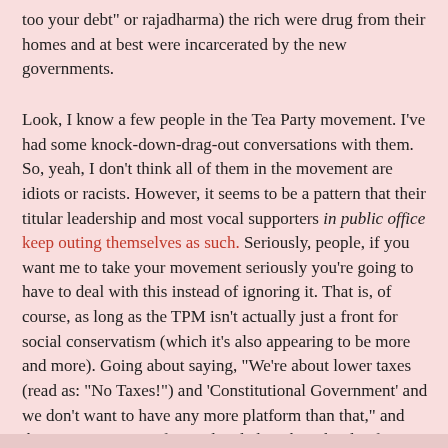too your debt" or rajadharma) the rich were drug from their homes and at best were incarcerated by the new governments.
Look, I know a few people in the Tea Party movement. I've had some knock-down-drag-out conversations with them. So, yeah, I don't think all of them in the movement are idiots or racists. However, it seems to be a pattern that their titular leadership and most vocal supporters in public office keep outing themselves as such. Seriously, people, if you want me to take your movement seriously you're going to have to deal with this instead of ignoring it. That is, of course, as long as the TPM isn't actually just a front for social conservatism (which it's also appearing to be more and more). Going about saying, "We're about lower taxes (read as: "No Taxes!") and 'Constitutional Government' and we don't want to have any more platform than that," and then continue to put forward and elect these kinds of people, if you have the other stuff as your platform or not, you'll be known for it. The rest of us will fill out your platform for you by observing those people you put in office.